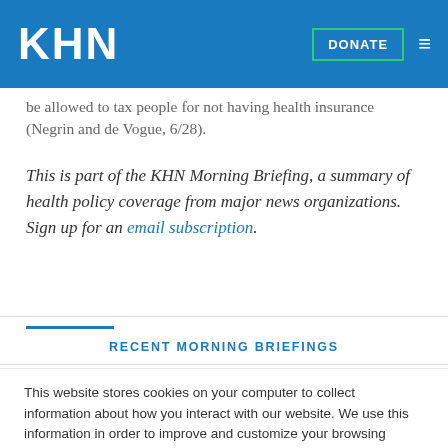KHN | DONATE
be allowed to tax people for not having health insurance (Negrin and de Vogue, 6/28).
This is part of the KHN Morning Briefing, a summary of health policy coverage from major news organizations. Sign up for an email subscription.
RECENT MORNING BRIEFINGS
This website stores cookies on your computer to collect information about how you interact with our website. We use this information in order to improve and customize your browsing experience and for analytics and metrics about our visitors both on this website and other media. To find out more about the cookies we use, see our Privacy Policy.
Accept